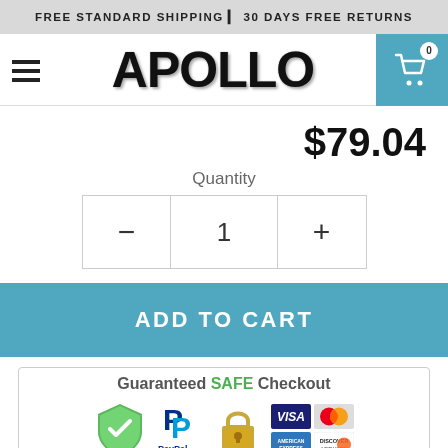FREE STANDARD SHIPPING | 30 DAYS FREE RETURNS
[Figure (logo): Apollo brand logo with hamburger menu icon on left and shopping cart button (badge showing 0) on right on a white navigation bar]
$79.04
Quantity
[Figure (other): Quantity selector with minus button, value 1, and plus button]
ADD TO CART
[Figure (infographic): Guaranteed SAFE Checkout badge with PayPal, AES-256 bit security shield, Stripe secure site padlock, Visa, Mastercard, American Express, and Discover Network logos]
[Figure (other): Bottom row of small trust/feature icons partially visible]